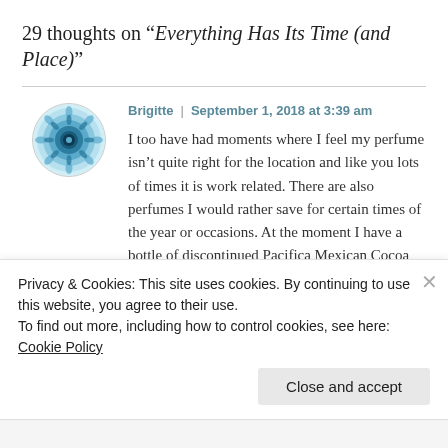29 thoughts on “Everything Has Its Time (and Place)”
[Figure (illustration): Circular teal/blue mandala avatar icon for user Brigitte]
Brigitte | September 1, 2018 at 3:39 am
I too have had moments where I feel my perfume isn’t quite right for the location and like you lots of times it is work related. There are also perfumes I would rather save for certain times of the year or occasions. At the moment I have a bottle of discontinued Pacifica Mexican Cocoa and have decided to make this my Christmas holiday scent. I
Privacy & Cookies: This site uses cookies. By continuing to use this website, you agree to their use.
To find out more, including how to control cookies, see here: Cookie Policy
Close and accept